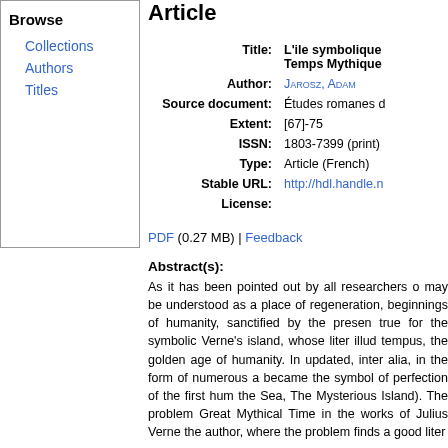Browse
Collections
Authors
Titles
Article
| Field | Value |
| --- | --- |
| Title: | L'ile symbolique Temps Mythique |
| Author: | Jarosz, Adam |
| Source document: | Études romanes d... |
| Extent: | [67]-75 |
| ISSN: | 1803-7399 (print) |
| Type: | Article (French) |
| Stable URL: | http://hdl.handle.n... |
| License: |  |
PDF (0.27 MB) | Feedback
Abstract(s):
As it has been pointed out by all researchers o... may be understood as a place of regeneration, beginnings of humanity, sanctified by the presen... true for the symbolic Verne's island, whose liter... illud tempus, the golden age of humanity. In ... updated, inter alia, in the form of numerous a... became the symbol of perfection of the first hum... the Sea, The Mysterious Island). The problem ... Great Mythical Time in the works of Julius Verne... the author, where the problem finds a good liter...